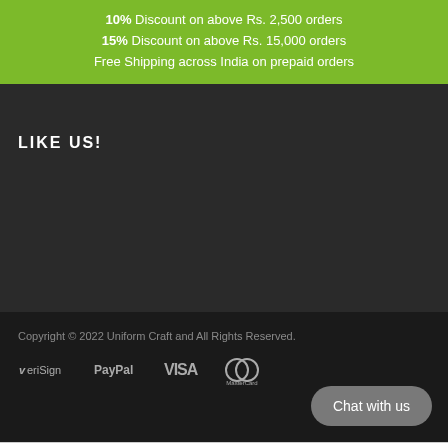10% Discount on above Rs. 2,500 orders
15% Discount on above Rs. 15,000 orders
Free Shipping across India on prepaid orders
LIKE US!
Copyright © 2022 Uniform Craft and All Rights Reserved.
[Figure (logo): Payment logos: VeriSign, PayPal, VISA, MasterCard]
Chat with us
Liquid error: Could not find asset snippets/covid-popup.liquid